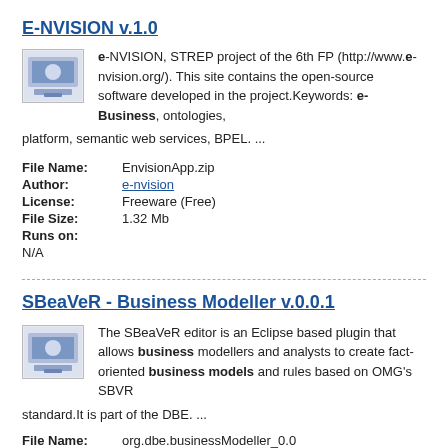E-NVISION  v.1.0
e-NVISION, STREP project of the 6th FP (http://www.e-nvision.org/). This site contains the open-source software developed in the project.Keywords: e-Business, ontologies, platform, semantic web services, BPEL. ...
| Field | Value |
| --- | --- |
| File Name: | EnvisionApp.zip |
| Author: | e-nvision |
| License: | Freeware (Free) |
| File Size: | 1.32 Mb |
| Runs on: | N/A |
SBeaVeR - Business Modeller  v.0.0.1
The SBeaVeR editor is an Eclipse based plugin that allows business modellers and analysts to create fact-oriented business models and rules based on OMG's SBVR standard.It is part of the DBE. ...
| Field | Value |
| --- | --- |
| File Name: | org.dbe.businessModeller_0.0.1.zip |
| Author: | sbavne |